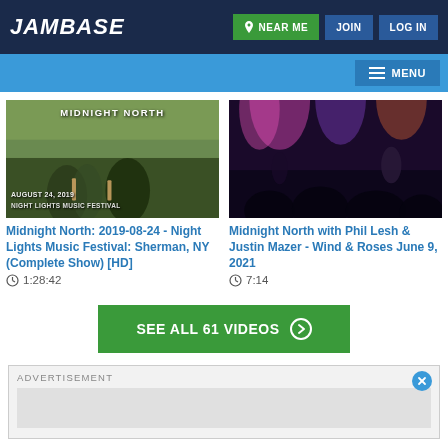JamBase | NEAR ME | JOIN | LOG IN | MENU
[Figure (screenshot): Video thumbnail for Midnight North 2019-08-24 Night Lights Music Festival showing performers with guitars, text overlay MIDNIGHT NORTH and AUGUST 24, 2019 NIGHT LIGHTS MUSIC FESTIVAL]
[Figure (screenshot): Video thumbnail for Midnight North with Phil Lesh & Justin Mazer showing concert with colorful stage lighting]
Midnight North: 2019-08-24 - Night Lights Music Festival: Sherman, NY (Complete Show) [HD]
1:28:42
Midnight North with Phil Lesh & Justin Mazer - Wind & Roses June 9, 2021
7:14
SEE ALL 61 VIDEOS
ADVERTISEMENT